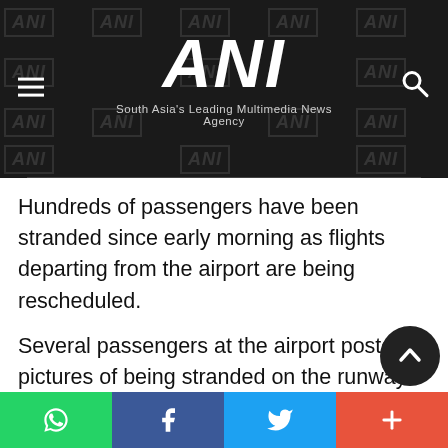ANI — South Asia's Leading Multimedia News Agency
Hundreds of passengers have been stranded since early morning as flights departing from the airport are being rescheduled.
Several passengers at the airport posted pictures of being stranded on the runway and waiting for take-off due to weather conditions.
The India Meteorological Departmen…